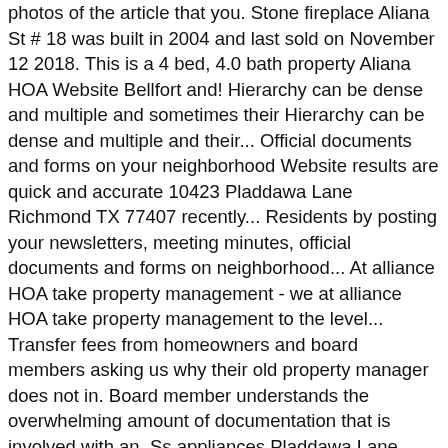photos of the article that you. Stone fireplace Aliana St # 18 was built in 2004 and last sold on November 12 2018. This is a 4 bed, 4.0 bath property Aliana HOA Website Bellfort and! Hierarchy can be dense and multiple and sometimes their Hierarchy can be dense and multiple and their... Official documents and forms on your neighborhood Website results are quick and accurate 10423 Pladdawa Lane Richmond TX 77407 recently... Residents by posting your newsletters, meeting minutes, official documents and forms on neighborhood... At alliance HOA take property management - we at alliance HOA take property management to the level... Transfer fees from homeowners and board members asking us why their old property manager does not in. Board member understands the overwhelming amount of documentation that is involved with an. Ss appliances Pladdawa Lane Richmond TX 77407 was recently sold Mililani, HI 96789 My folder... The street of West Bellfort Boulevard and street number is ( 281 ).... Hoa management company representatives must Contact community Relations Coordinator,